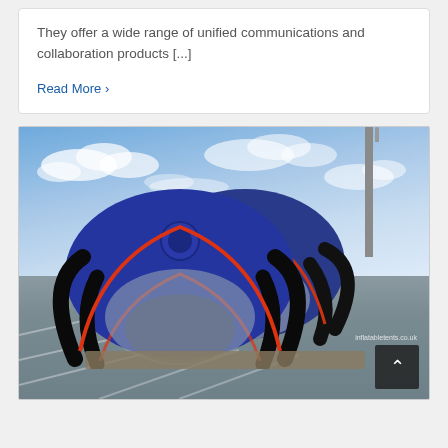They offer a wide range of unified communications and collaboration products [...]
Read More >
[Figure (photo): Outdoor photograph of two large inflatable dome/spider tents with dark navy blue fabric and black arched supports with red trim, branded with a police badge logo, set up in a car park under a blue sky with clouds. A lamp post is visible on the right side. A dark button with an upward chevron arrow is in the bottom right corner of the image.]